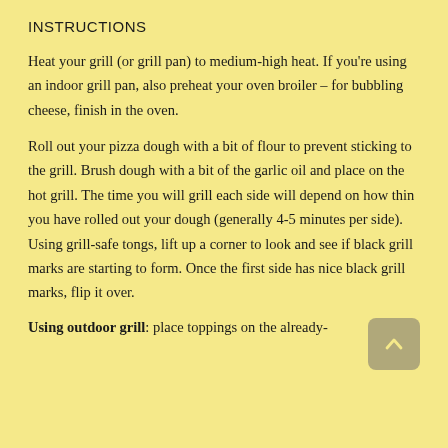INSTRUCTIONS
Heat your grill (or grill pan) to medium-high heat. If you're using an indoor grill pan, also preheat your oven broiler – for bubbling cheese, finish in the oven.
Roll out your pizza dough with a bit of flour to prevent sticking to the grill. Brush dough with a bit of the garlic oil and place on the hot grill. The time you will grill each side will depend on how thin you have rolled out your dough (generally 4-5 minutes per side). Using grill-safe tongs, lift up a corner to look and see if black grill marks are starting to form. Once the first side has nice black grill marks, flip it over.
Using outdoor grill: place toppings on the already-